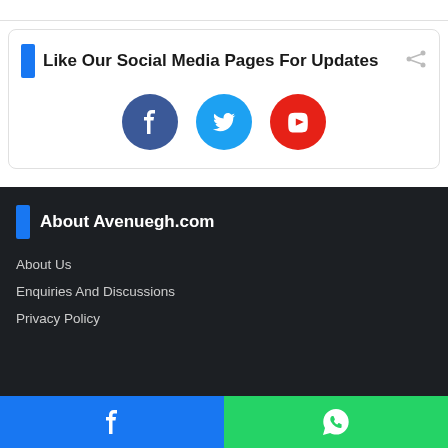Like Our Social Media Pages For Updates
[Figure (infographic): Three social media icon circles: Facebook (blue), Twitter (light blue), YouTube (red)]
About Avenuegh.com
About Us
Enquiries And Discussions
Privacy Policy
[Figure (infographic): Bottom bar with Facebook icon on blue background (left half) and WhatsApp icon on green background (right half)]